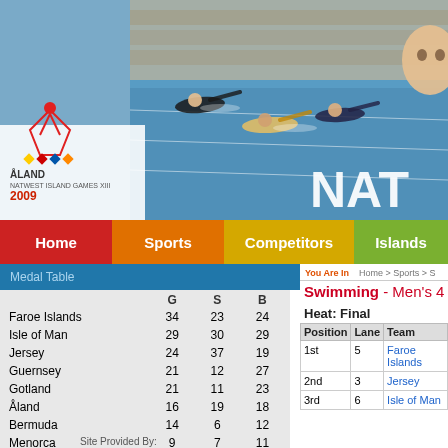[Figure (photo): Header banner with swimmers diving/swimming in a pool, Åland NatWest Island Games XIII 2009 logo on left, partial text 'NAT' on right]
Home | Sports | Competitors | Islands
Medal Table
|  | G | S | B |
| --- | --- | --- | --- |
| Faroe Islands | 34 | 23 | 24 |
| Isle of Man | 29 | 30 | 29 |
| Jersey | 24 | 37 | 19 |
| Guernsey | 21 | 12 | 27 |
| Gotland | 21 | 11 | 23 |
| Åland | 16 | 19 | 18 |
| Bermuda | 14 | 6 | 12 |
| Menorca | 9 | 7 | 11 |
| Cayman Islands | 7 | 4 | 3 |
| Saaremaa | 6 | 9 | 10 |
Site Provided By:
You Are In    Home > Sports > S
Swimming - Men's 4 x 5
Heat: Final
| Position | Lane | Team | ... |
| --- | --- | --- | --- |
| 1st | 5 | Faroe Islands |  |
| 2nd | 3 | Jersey |  |
| 3rd | 6 | Isle of Man |  |